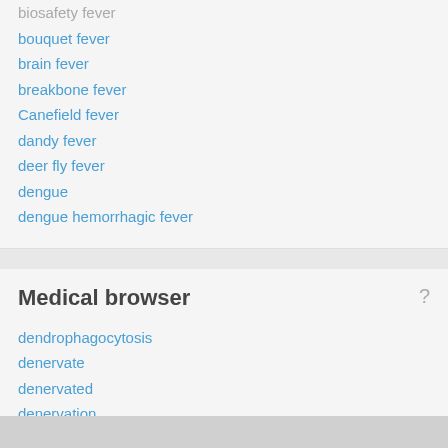biosafety fever
bouquet fever
brain fever
breakbone fever
Canefield fever
dandy fever
deer fly fever
dengue
dengue hemorrhagic fever
Medical browser
dendrophagocytosis
denervate
denervated
denervation
denervation atrophy
Dengay
dengue
Dengue Fever
dengue hemorrhagic fever